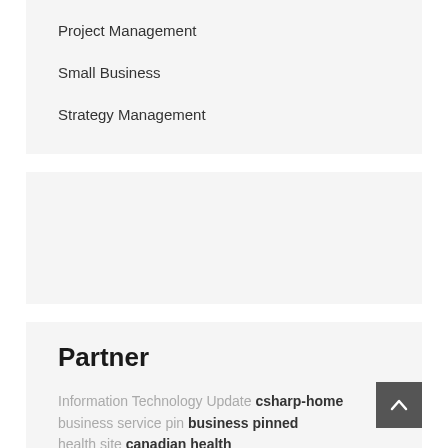Project Management
Small Business
Strategy Management
[Figure (other): Empty gray placeholder box]
Partner
Information Technology Update csharp-home business service pin business pinned health site canadian health